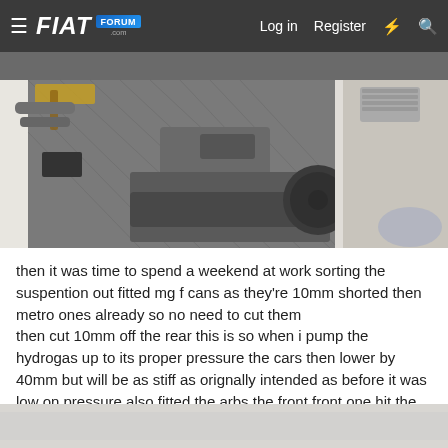FIAT FORUM .com  Log in  Register
[Figure (photo): Car door panel removed, showing grey fabric interior panel with handle, white door frame visible, gravel ground outside, tools and clothes visible in background]
then it was time to spend a weekend at work sorting the suspention out fitted mg f cans as they're 10mm shorted then metro ones already so no need to cut them
then cut 10mm off the rear this is so when i pump the hydrogas up to its proper pressure the cars then lower by 40mm but will be as stiff as orignally intended as before it was low on pressure also fitted the arbs the front front one hit the gearlinkage so made some minor adjustments to that
[Figure (photo): Partial view of another car photo at bottom of page, mostly white/grey, cropped]